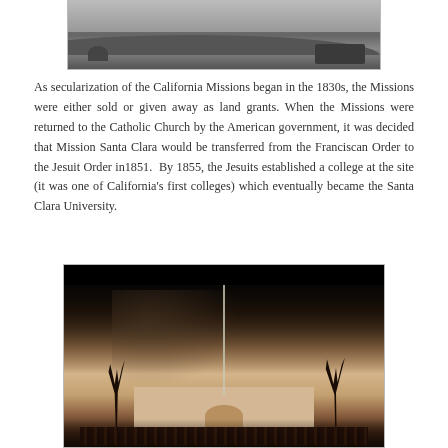[Figure (photo): Black and white historical photograph showing people and horses on a hillside landscape, partially visible at top of page]
As secularization of the California Missions began in the 1830s, the Missions were either sold or given away as land grants. When the Missions were returned to the Catholic Church by the American government, it was decided that Mission Santa Clara would be transferred from the Franciscan Order to the Jesuit Order in1851. By 1855, the Jesuits established a college at the site (it was one of California's first colleges) which eventually became the Santa Clara University.
[Figure (photo): Historical black and white photograph showing a building with palm trees and smoke or fire, with a crowd of people gathered in front, likely depicting an event at Santa Clara University]